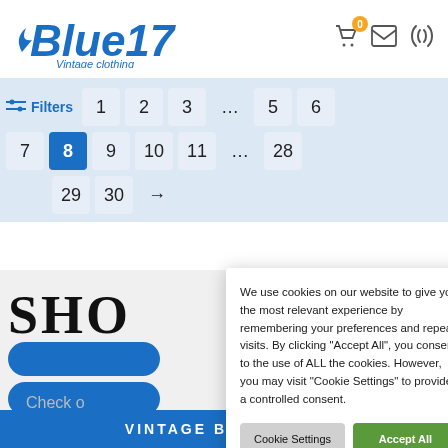Blue17 Vintage clothing
[Figure (screenshot): Pagination navigation row showing page numbers 1, 2, 3, ..., 5, 6 and a second row with 7, 8 (active/selected), 9, 10, 11, ..., 28 and a third row with 29, 30, →, with Filters button on the left]
We use cookies on our website to give you the most relevant experience by remembering your preferences and repeat visits. By clicking "Accept All", you consent to the use of ALL the cookies. However, you may visit "Cookie Settings" to provide a controlled consent.
SHO
Check o
VINTAGE BY DECADE